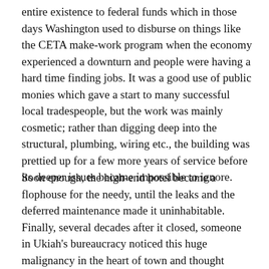entire existence to federal funds which in those days Washington used to disburse on things like the CETA make-work program when the economy experienced a downturn and people were having a hard time finding jobs. It was a good use of public monies which gave a start to many successful local tradespeople, but the work was mainly cosmetic; rather than digging deep into the structural, plumbing, wiring etc., the building was prettied up for a few more years of service before its deeper issues became impossible to ignore.
Soon enough, the high-end hotel became a flophouse for the needy, until the leaks and the deferred maintenance made it uninhabitable. Finally, several decades after it closed, someone in Ukiah's bureaucracy noticed this huge malignancy in the heart of town and thought about addressing it. If it was uninhabitable all those years ago, do you even need any inspection to conclude that with many more years of leaky roof and